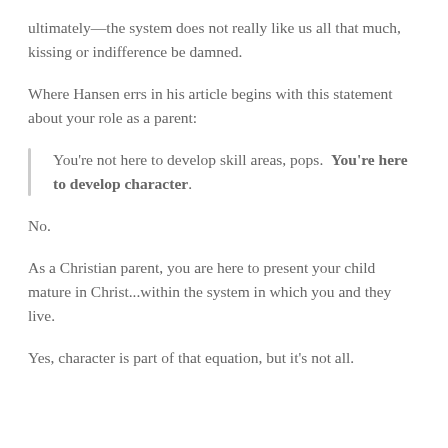ultimately—the system does not really like us all that much, kissing or indifference be damned.
Where Hansen errs in his article begins with this statement about your role as a parent:
You're not here to develop skill areas, pops.  You're here to develop character.
No.
As a Christian parent, you are here to present your child mature in Christ...within the system in which you and they live.
Yes, character is part of that equation, but it's not all.